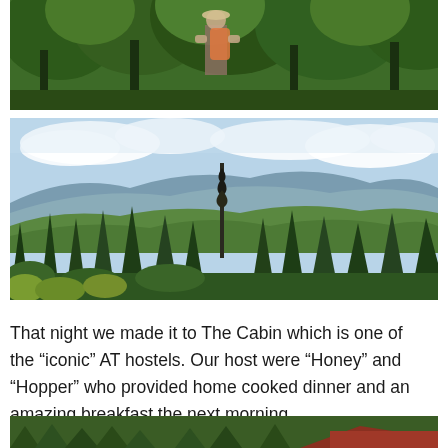[Figure (photo): Person standing among dense green trees on a hiking trail, wearing a backpack and hat, surrounded by foliage]
[Figure (photo): Panoramic mountain landscape view with tall spruce/fir trees in the foreground, rolling green mountains and blue sky with clouds in the background, taken from an elevated vantage point]
That night we made it to The Cabin which is one of the “iconic” AT hostels. Our host were “Honey” and “Hopper” who provided home cooked dinner and an amazing breakfast the next morning.
[Figure (photo): Partial view of a cabin or lodge building with a red roof visible through green trees]